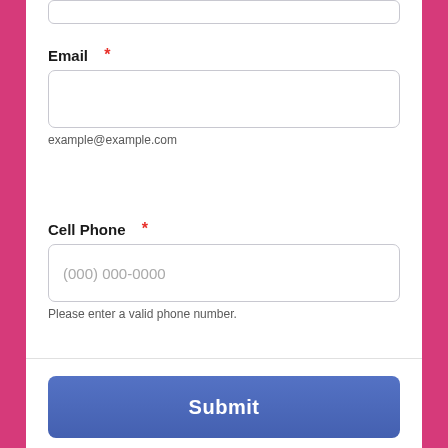Email *
example@example.com
Cell Phone *
(000) 000-0000
Please enter a valid phone number.
Submit